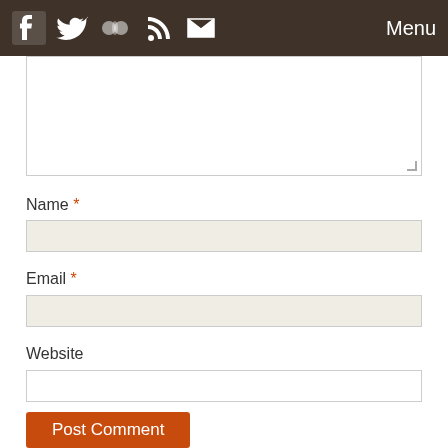Menu
[Figure (screenshot): Comment text area input box, partially visible at top of content area]
Name *
[Figure (screenshot): Name input field with beige/cream background]
Email *
[Figure (screenshot): Email input field with beige/cream background]
Website
[Figure (screenshot): Website input field with white background]
Post Comment